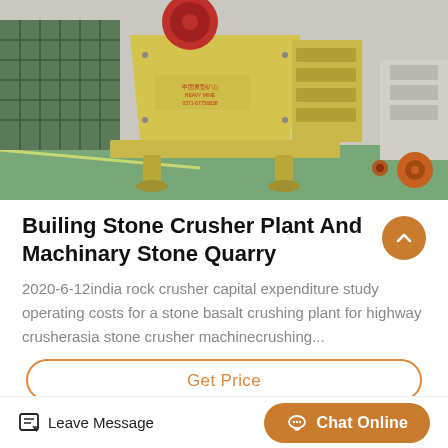[Figure (photo): A large yellow industrial jaw crusher / stone crusher machine on a factory floor with green painted concrete, metal cages/storage in background]
Builing Stone Crusher Plant And Machinary Stone Quarry
2020-6-12india rock crusher capital expenditure study operating costs for a stone basalt crushing plant for highway crusherasia stone crusher machinecrushing...
Get Price
Leave Message
Chat Online